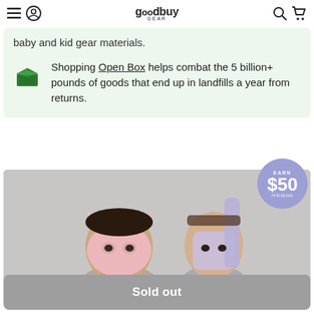goodbuy GEAR
baby and kid gear materials.
Shopping Open Box helps combat the 5 billion+ pounds of goods that end up in landfills a year from returns.
[Figure (photo): Two children wearing pink and lavender animal face masks, holding items, against gray background. A purple circular badge reads EARN $50 /FRIEND.]
Sold out